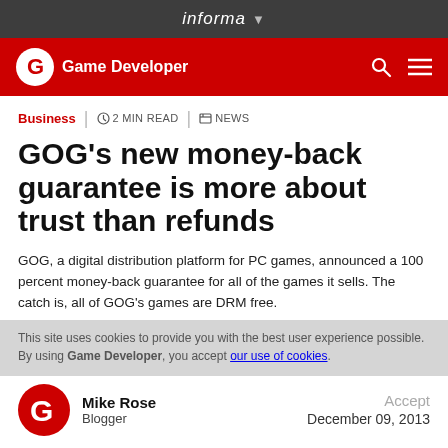informa
[Figure (logo): Game Developer site header with red background, Game Developer logo and nav icons]
Business | 2 MIN READ | NEWS
GOG's new money-back guarantee is more about trust than refunds
GOG, a digital distribution platform for PC games, announced a 100 percent money-back guarantee for all of the games it sells. The catch is, all of GOG's games are DRM free.
This site uses cookies to provide you with the best user experience possible. By using Game Developer, you accept our use of cookies.
Mike Rose
Blogger
December 09, 2013